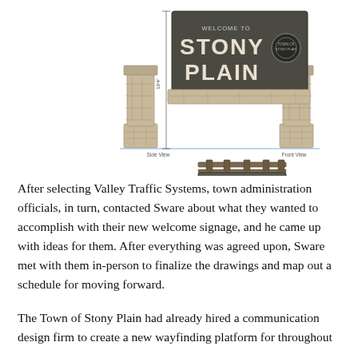[Figure (engineering-diagram): Architectural rendering/schematic of a 'Welcome to Stony Plain' entry monument sign with stone pillars and dark sign panels, shown from side view, front view, and bird-eye view. Two tall stone pillar columns flank a large dark panel reading 'WELCOME TO STONY PLAIN' with a circular logo. Below is a smaller sign panel with overhead cross-beams, shown from bird's eye view. Labels indicate 'Side View', 'Front View', and 'Bird View'.]
After selecting Valley Traffic Systems, town administration officials, in turn, contacted Sware about what they wanted to accomplish with their new welcome signage, and he came up with ideas for them. After everything was agreed upon, Sware met with them in-person to finalize the drawings and map out a schedule for moving forward.
The Town of Stony Plain had already hired a communication design firm to create a new wayfinding platform for throughout